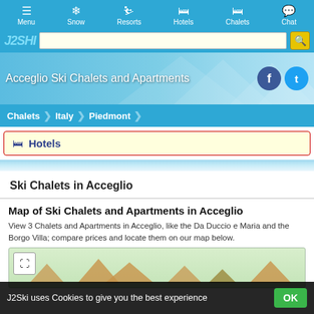Menu | Snow | Resorts | Hotels | Chalets | Chat
[Figure (screenshot): J2Ski logo and search bar on blue background]
Acceglio Ski Chalets and Apartments
Chalets > Italy > Piedmont
Hotels
Ski Chalets in Acceglio
Map of Ski Chalets and Apartments in Acceglio
View 3 Chalets and Apartments in Acceglio, like the Da Duccio e Maria and the Borgo Villa; compare prices and locate them on our map below.
[Figure (map): Map preview of Ski Chalets and Apartments in Acceglio with mountain triangle markers]
J2Ski uses Cookies to give you the best experience